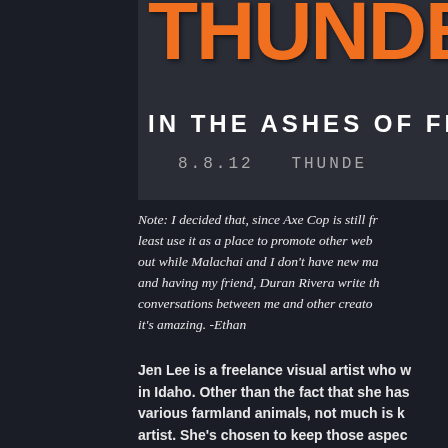[Figure (illustration): Comic book style banner image with large orange stylized text 'THUNDE' (Thunder, cropped) on dark background, subtitle 'IN THE ASHES OF FIR' (Fire, cropped) in white spaced capital letters, and '8.8.12 THUNDE' date/branding line in gray monospace]
Note: I decided that, since Axe Cop is still fr... least use it as a place to promote other web... out while Malachai and I don't have new ma... and having my friend, Duran Rivera write th... conversations between me and other creato... it's amazing. -Ethan
Jen Lee is a freelance visual artist who w... in Idaho. Other than the fact that she has... various farmland animals, not much is k... artist. She's chosen to keep those aspec...